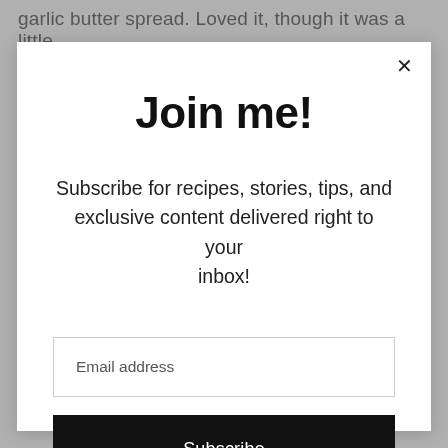garlic butter spread. Loved it, though it was a little
Join me!
Subscribe for recipes, stories, tips, and exclusive content delivered right to your inbox!
Email address
Subscribe